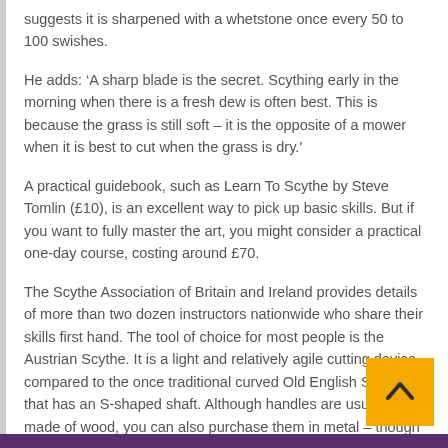suggests it is sharpened with a whetstone once every 50 to 100 swishes.
He adds: ‘A sharp blade is the secret. Scything early in the morning when there is a fresh dew is often best. This is because the grass is still soft – it is the opposite of a mower when it is best to cut when the grass is dry.’
A practical guidebook, such as Learn To Scythe by Steve Tomlin (£10), is an excellent way to pick up basic skills. But if you want to fully master the art, you might consider a practical one-day course, costing around £70.
The Scythe Association of Britain and Ireland provides details of more than two dozen instructors nationwide who share their skills first hand. The tool of choice for most people is the Austrian Scythe. It is a light and relatively agile cutting device compared to the once traditional curved Old English Scythe that has an S-shaped shaft. Although handles are usually made of wood, you can also purchase them in metal – though these are less popular.